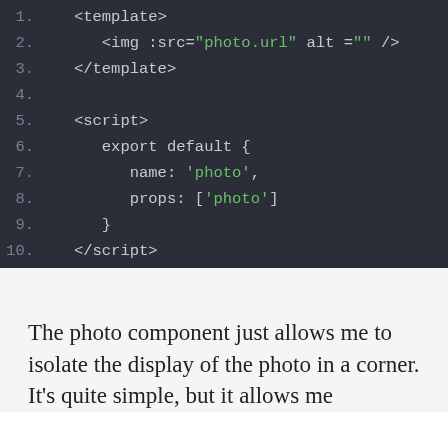[Figure (screenshot): Code editor screenshot showing Vue.js single-file component code lines 1-17 with syntax highlighting on dark background. Lines show: template with img tag, /template, blank, script, export default with name photo and props photo, closing script, blank, style scoped with .column img CSS rule including vertical-align middle and width 100%, closing style.]
The photo component just allows me to isolate the display of the photo in a corner. It's quite simple, but it allows me